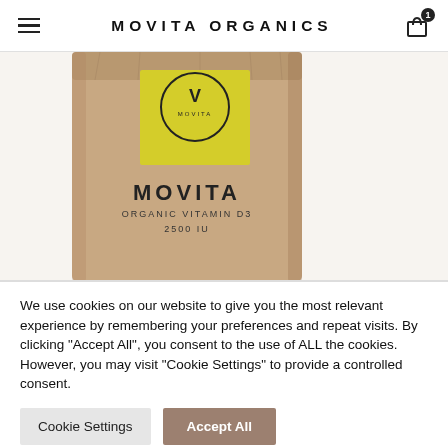MOVITA ORGANICS
[Figure (photo): A kraft paper bag of Movita Organic Vitamin D3 2500 IU supplement with a yellow square label bearing a circular logo on the front, photographed against a white background.]
We use cookies on our website to give you the most relevant experience by remembering your preferences and repeat visits. By clicking "Accept All", you consent to the use of ALL the cookies. However, you may visit "Cookie Settings" to provide a controlled consent.
Cookie Settings
Accept All